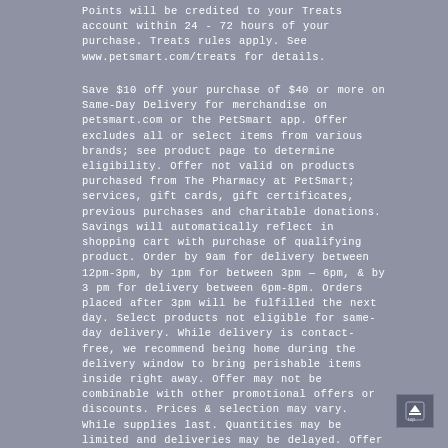Points will be credited to your Treats account within 24 - 72 hours of your purchase. Treats rules apply. See www.petsmart.com/treats for details.
Save $10 off your purchase of $40 or more on Same-Day Delivery for merchandise on petsmart.com or the PetSmart app. Offer excludes all or select items from various brands; see product page to determine eligibility. Offer not valid on products purchased from The Pharmacy at PetSmart; services, gift cards, gift certificates, previous purchases and charitable donations. Savings will automatically reflect in shopping cart with purchase of qualifying product. Order by 9am for delivery between 12pm-3pm, by 1pm for between 3pm — 6pm, & by 3 pm for delivery between 6pm-8pm. Orders placed after 3pm will be fulfilled the next day. Select products not eligible for same-day delivery. While delivery is contact-free, we recommend being home during the delivery window to bring perishable items inside right away. Offer may not be combinable with other promotional offers or discounts. Prices & selection may vary. While supplies last. Quantities may be limited and deliveries may be delayed. Offer valid through 8/28/2022.
Save $10 off your first purchase of $50 or more in Pharmacy. Offer valid with Treats membership online only at petsmart.com or on the app. Must be signed into your Treats account prior to purchase. Discount taken off